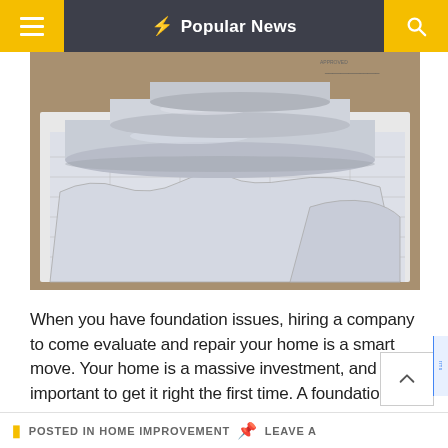⚡ Popular News
[Figure (photo): Rolled blueprint/architectural drawings and plans laid on a desk viewed from above]
When you have foundation issues, hiring a company to come evaluate and repair your home is a smart move. Your home is a massive investment, and it's important to get it right the first time. A foundation repair company is one of the best ways to ensure that you're getting the [...]
POSTED IN HOME IMPROVEMENT  LEAVE A